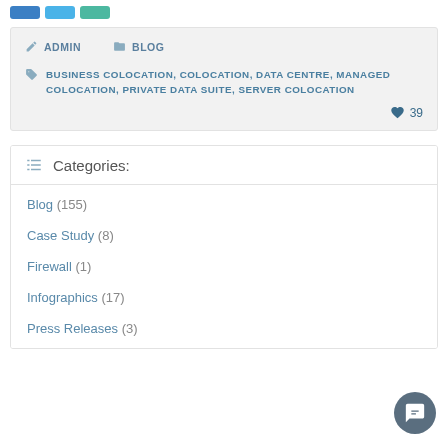[Social share buttons: Facebook, Twitter, Share]
ADMIN   BLOG
BUSINESS COLOCATION, COLOCATION, DATA CENTRE, MANAGED COLOCATION, PRIVATE DATA SUITE, SERVER COLOCATION
♥ 39
Categories:
Blog (155)
Case Study (8)
Firewall (1)
Infographics (17)
Press Releases (3)